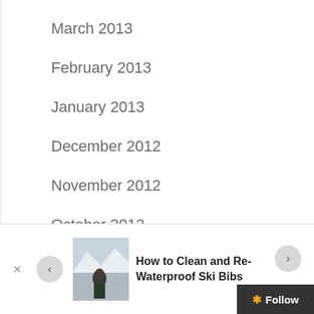March 2013
February 2013
January 2013
December 2012
November 2012
October 2012
June 2012
May 2012
[Figure (photo): Person on snowy mountain slope, ski bibs article thumbnail]
How to Clean and Re-Waterproof Ski Bibs